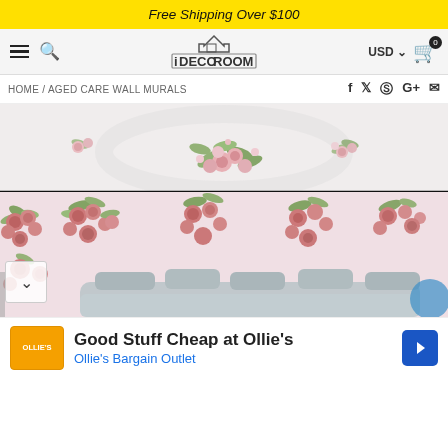Free Shipping Over $100
[Figure (screenshot): iDecoRoom website navigation bar with hamburger menu, search icon, iDecoRoom logo, USD currency selector, and cart icon with 0 badge]
HOME / AGED CARE WALL MURALS
[Figure (photo): Floral wall mural product photo showing pink roses and green leaves on ceiling and walls in a living room setting with grey sofa]
[Figure (other): Advertisement: Good Stuff Cheap at Ollie's - Ollie's Bargain Outlet]